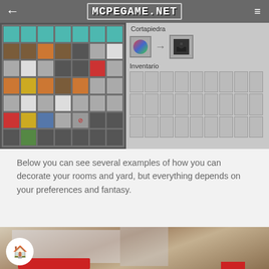[Figure (screenshot): Minecraft game screenshot showing stonecutter UI (Cortapiedra) with inventory grid on left, crafting interface on right with Inventario section]
Below you can see several examples of how you can decorate your rooms and yard, but everything depends on your preferences and fantasy.
[Figure (screenshot): Minecraft interior room scene showing decorated living area with red furniture, wooden floors and ceiling, and windows]